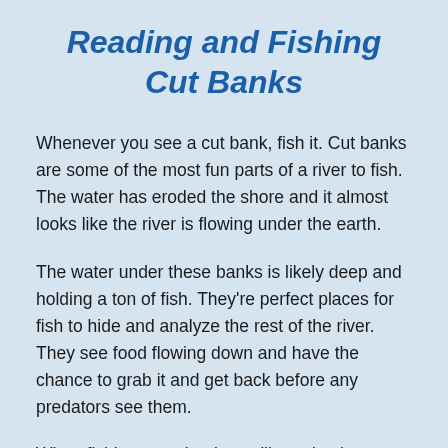Reading and Fishing Cut Banks
Whenever you see a cut bank, fish it. Cut banks are some of the most fun parts of a river to fish. The water has eroded the shore and it almost looks like the river is flowing under the earth.
The water under these banks is likely deep and holding a ton of fish. They're perfect places for fish to hide and analyze the rest of the river. They see food flowing down and have the chance to grab it and get back before any predators see them.
When fishing a cut bank, you'll need to be accurate with